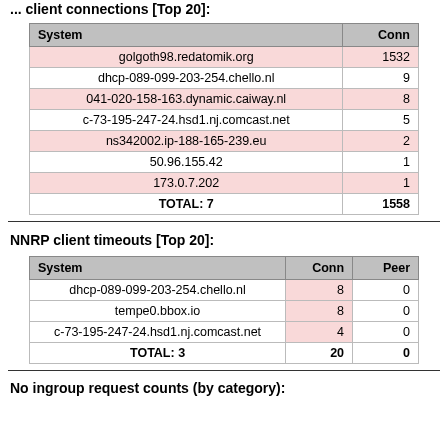... client connections [Top 20]:
| System | Conn |
| --- | --- |
| golgoth98.redatomik.org | 1532 |
| dhcp-089-099-203-254.chello.nl | 9 |
| 041-020-158-163.dynamic.caiway.nl | 8 |
| c-73-195-247-24.hsd1.nj.comcast.net | 5 |
| ns342002.ip-188-165-239.eu | 2 |
| 50.96.155.42 | 1 |
| 173.0.7.202 | 1 |
| TOTAL: 7 | 1558 |
NNRP client timeouts [Top 20]:
| System | Conn | Peer |
| --- | --- | --- |
| dhcp-089-099-203-254.chello.nl | 8 | 0 |
| tempe0.bbox.io | 8 | 0 |
| c-73-195-247-24.hsd1.nj.comcast.net | 4 | 0 |
| TOTAL: 3 | 20 | 0 |
No ingroup request counts (by category):